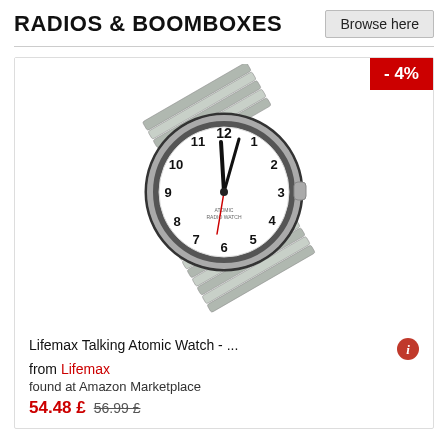RADIOS & BOOMBOXES
Browse here
[Figure (photo): Lifemax Talking Atomic Watch with silver expandable metal band and white clock face showing numbers 1-12, with a red -4% discount badge in the top right corner of the product card.]
- 4%
Lifemax Talking Atomic Watch - ...
from Lifemax
found at Amazon Marketplace
54.48 £  56.99 £